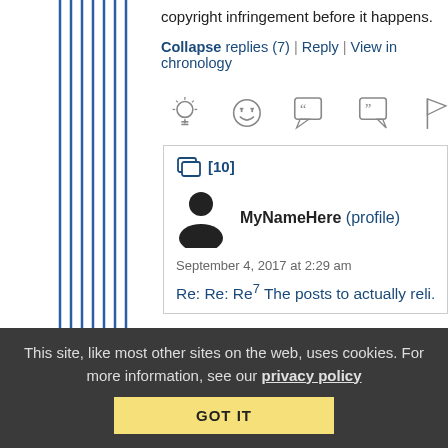copyright infringement before it happens.
Collapse replies (7) | Reply | View in chronology
[Figure (screenshot): Row of reaction/action icons: lightbulb, laughing face, open quote bubble, close quote bubble, flag]
[Figure (screenshot): Comment block with number [10], user avatar silhouette, username MyNameHere (profile), date September 4, 2017 at 2:29 am, and partial preview text starting with Re: Re: Re:7 The posts that actually reli...]
This site, like most other sites on the web, uses cookies. For more information, see our privacy policy
GOT IT